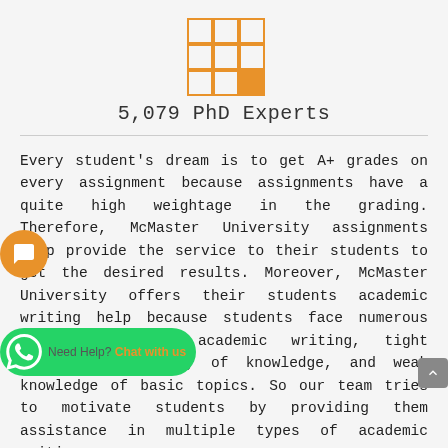[Figure (logo): 3x3 grid logo with orange outlined squares, bottom-right cell filled orange]
5,079 PhD Experts
Every student's dream is to get A+ grades on every assignment because assignments have a quite high weightage in the grading. Therefore, McMaster University assignments help provide the service to their students to get the desired results. Moreover, McMaster University offers their students academic writing help because students face numerous issues regarding academic writing, tight deadlines, scarcity of knowledge, and weak knowledge of basic topics. So our team tries to motivate students by providing them assistance in multiple types of academic writing.